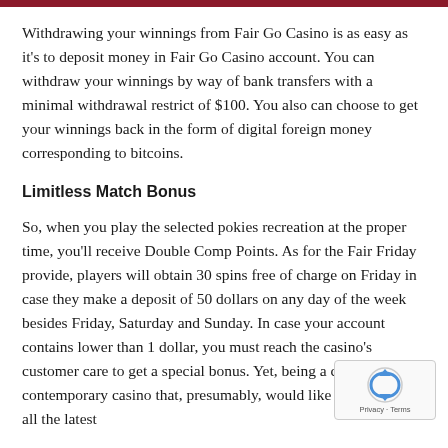Withdrawing your winnings from Fair Go Casino is as easy as it's to deposit money in Fair Go Casino account. You can withdraw your winnings by way of bank transfers with a minimal withdrawal restrict of $100. You also can choose to get your winnings back in the form of digital foreign money corresponding to bitcoins.
Limitless Match Bonus
So, when you play the selected pokies recreation at the proper time, you'll receive Double Comp Points. As for the Fair Friday provide, players will obtain 30 spins free of charge on Friday in case they make a deposit of 50 dollars on any day of the week besides Friday, Saturday and Sunday. In case your account contains lower than 1 dollar, you must reach the casino's customer care to get a special bonus. Yet, being a comparatively contemporary casino that, presumably, would like to implement all the latest